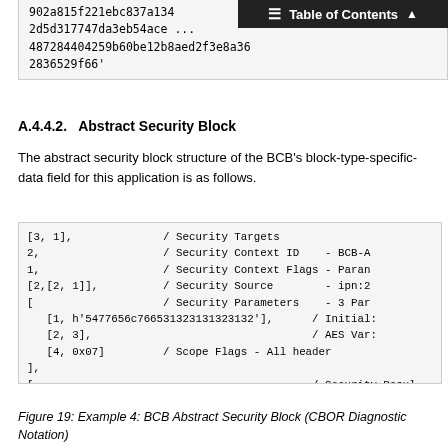902a815f221ebc837a134...
2d5d317747da3eb54ace...
487284404259b60be12b8aed2f3e8a36
2836529f66'
A.4.4.2.  Abstract Security Block
The abstract security block structure of the BCB's block-type-specific-data field for this application is as follows.
[Figure (other): Code block showing CBOR diagnostic notation for BCB Abstract Security Block with security targets, context ID, flags, source, parameters and results.]
Figure 19: Example 4: BCB Abstract Security Block (CBOR Diagnostic Notation)